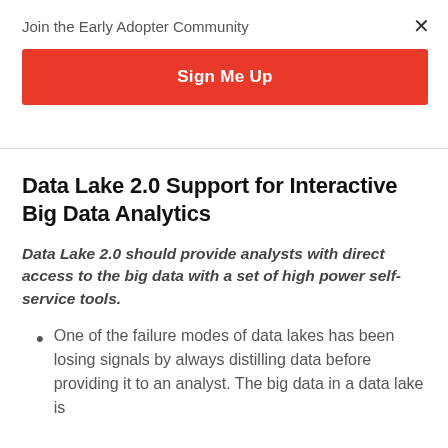Join the Early Adopter Community
Sign Me Up
Data Lake 2.0 Support for Interactive Big Data Analytics
Data Lake 2.0 should provide analysts with direct access to the big data with a set of high power self-service tools.
One of the failure modes of data lakes has been losing signals by always distilling data before providing it to an analyst. The big data in a data lake is